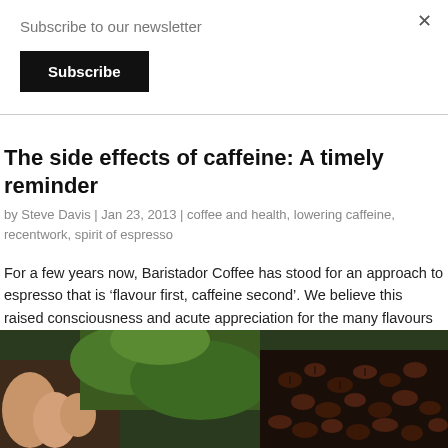Subscribe to our newsletter
Subscribe
The side effects of caffeine: A timely reminder
by Steve Davis | Jan 23, 2013 | coffee and health, lowering caffeine, recentwork, spirit of espresso
For a few years now, Baristador Coffee has stood for an approach to espresso that is ‘flavour first, caffeine second’. We believe this raised consciousness and acute appreciation for the many flavours and variations of this mighty bean, rather than for its…
[Figure (photo): Close-up photo of hands holding coffee beans with green plant background]